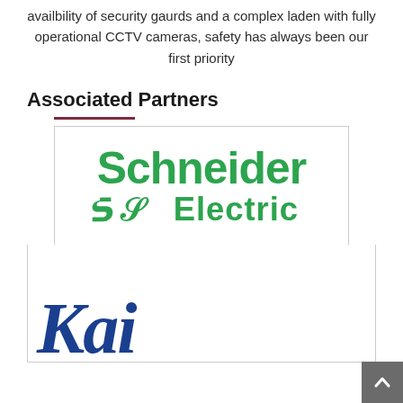availbility of security gaurds and a complex laden with fully operational CCTV cameras, safety has always been our first priority
Associated Partners
[Figure (logo): Schneider Electric logo in green with the stylized 'SE' symbol]
[Figure (logo): Partial logo (Kairos or similar brand) in blue italic text, partially visible at bottom]